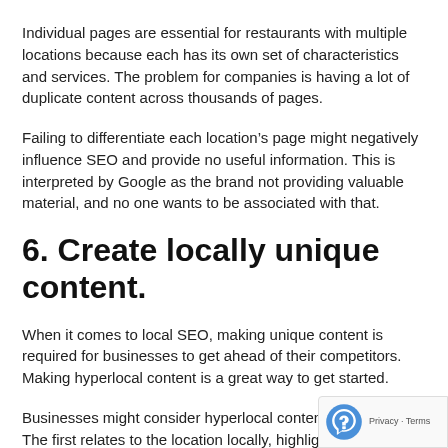Individual pages are essential for restaurants with multiple locations because each has its own set of characteristics and services. The problem for companies is having a lot of duplicate content across thousands of pages.
Failing to differentiate each location's page might negatively influence SEO and provide no useful information. This is interpreted by Google as the brand not providing valuable material, and no one wants to be associated with that.
6. Create locally unique content.
When it comes to local SEO, making unique content is required for businesses to get ahead of their competitors. Making hyperlocal content is a great way to get started.
Businesses might consider hyperlocal content in two ways. The first relates to the location locally, highlighting the restaurant's surrounding areas, like important highways...